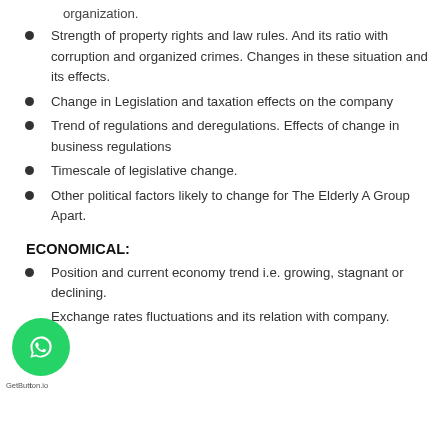organization.
Strength of property rights and law rules. And its ratio with corruption and organized crimes. Changes in these situation and its effects.
Change in Legislation and taxation effects on the company
Trend of regulations and deregulations. Effects of change in business regulations
Timescale of legislative change.
Other political factors likely to change for The Elderly A Group Apart.
ECONOMICAL:
Position and current economy trend i.e. growing, stagnant or declining.
Exchange rates fluctuations and its relation with company.
Change in trend of consumer disposable income and their...